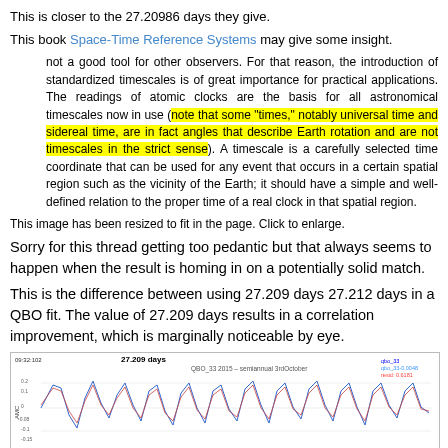This is closer to the 27.20986 days they give.
This book Space-Time Reference Systems may give some insight.
not a good tool for other observers. For that reason, the introduction of standardized timescales is of great importance for practical applications. The readings of atomic clocks are the basis for all astronomical timescales now in use (note that some "times," notably universal time and sidereal time, are in fact angles that describe Earth rotation and are not timescales in the strict sense). A timescale is a carefully selected time coordinate that can be used for any event that occurs in a certain spatial region such as the vicinity of the Earth; it should have a simple and well-defined relation to the proper time of a real clock in that spatial region.
This image has been resized to fit in the page. Click to enlarge.
Sorry for this thread getting too pedantic but that always seems to happen when the result is homing in on a potentially solid match.
This is the difference between using 27.209 days 27.212 days in a QBO fit. The value of 27.209 days results in a correlation improvement, which is marginally noticeable by eye.
[Figure (line-chart): Line chart titled '27.209 days' showing QBO_33 2015 - semiannual 3rdOctober with two overlapping oscillating lines (blue and red/pink) over time. The chart shows multiple cycles of oscillation. Legend shows two series. Y-axis labeled 'AMC', x-axis labeled 'Time/yrs'.]